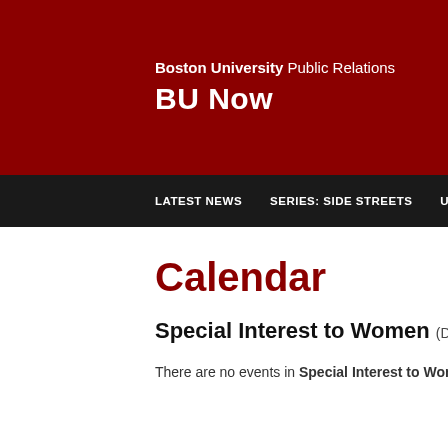Boston University Public Relations BU Now
LATEST NEWS   SERIES: SIDE STREETS   UNIVERSITY HIGHLIGHTS
Calendar
Special Interest to Women (December 29 thro…
There are no events in Special Interest to Women during the specified…